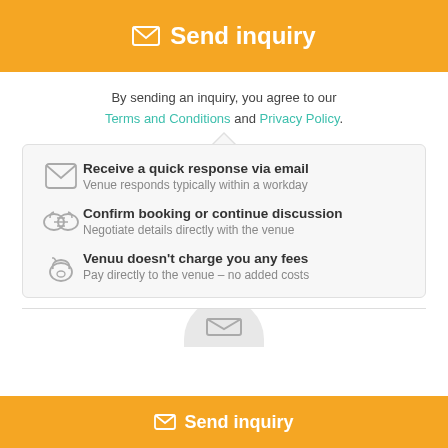Send inquiry
By sending an inquiry, you agree to our Terms and Conditions and Privacy Policy.
Receive a quick response via email — Venue responds typically within a workday
Confirm booking or continue discussion — Negotiate details directly with the venue
Venuu doesn't charge you any fees — Pay directly to the venue – no added costs
Send inquiry